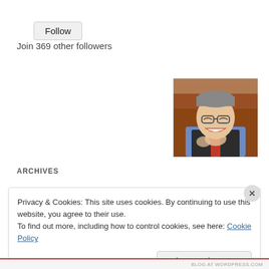Follow
Join 369 other followers
[Figure (photo): Portrait photo of a smiling middle-aged man wearing glasses, a dark vest over a blue shirt and red tie, with hands clasped near his face.]
ARCHIVES
Privacy & Cookies: This site uses cookies. By continuing to use this website, you agree to their use.
To find out more, including how to control cookies, see here: Cookie Policy
Close and accept